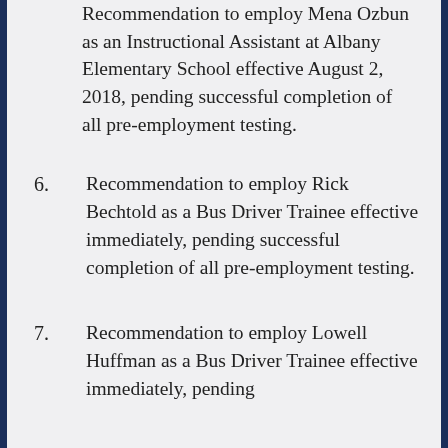Recommendation to employ Mena Ozbun as an Instructional Assistant at Albany Elementary School effective August 2, 2018, pending successful completion of all pre-employment testing.
6. Recommendation to employ Rick Bechtold as a Bus Driver Trainee effective immediately, pending successful completion of all pre-employment testing.
7. Recommendation to employ Lowell Huffman as a Bus Driver Trainee effective immediately, pending